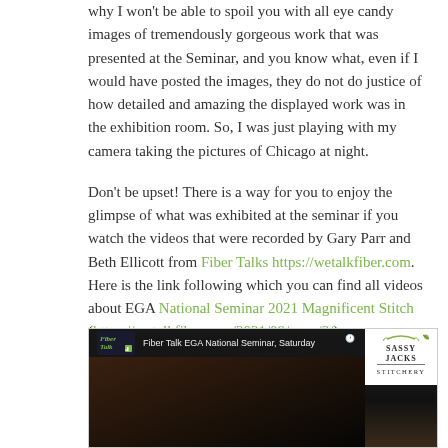why I won't be able to spoil you with all eye candy images of tremendously gorgeous work that was presented at the Seminar, and you know what, even if I would have posted the images, they do not do justice of how detailed and amazing the displayed work was in the exhibition room. So, I was just playing with my camera taking the pictures of Chicago at night.
Don't be upset! There is a way for you to enjoy the glimpse of what was exhibited at the seminar if you watch the videos that were recorded by Gary Parr and Beth Ellicott from Fiber Talks https://wetalkfiber.com. Here is the link following which you can find all videos about EGA National Seminar 2021 Magnificent Stitch (https://wetalkfiber.com/2021/09/page/3/).
[Figure (screenshot): Video thumbnail showing Fiber Talk EGA National Seminar, Saturday with Sassy Jacks Stitchery logo in the upper right]